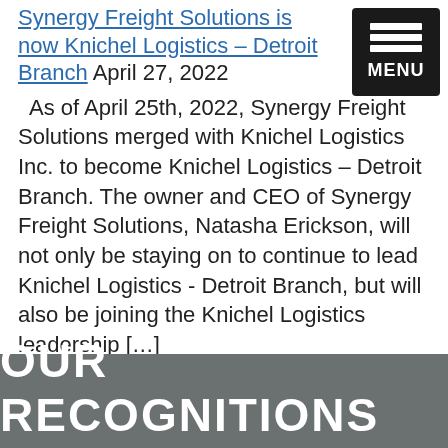Synergy Freight Solutions is now Knichel Logistics – Detroit Branch April 27, 2022
As of April 25th, 2022, Synergy Freight Solutions merged with Knichel Logistics Inc. to become Knichel Logistics – Detroit Branch. The owner and CEO of Synergy Freight Solutions, Natasha Erickson, will not only be staying on to continue to lead Knichel Logistics - Detroit Branch, but will also be joining the Knichel Logistics leadership […]
Surplus Capacity in Harrisburg! April 22, 2022
If you have freight moving out of Harrisburg, you are in luck!
OUR RECOGNITIONS